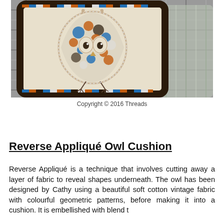[Figure (photo): A decorative cushion with a reverse appliqué owl design on a cream/ivory background, bordered with colourful geometric patterned fabric in blue, orange, brown and white. The cushion is placed on a grey plaid/tartan fabric surface.]
Copyright © 2016 Threads
Reverse Appliqué Owl Cushion
Reverse Appliqué is a technique that involves cutting away a layer of fabric to reveal shapes underneath. The owl has been designed by Cathy using a beautiful soft cotton vintage fabric with colourful geometric patterns, before making it into a cushion. It is embellished with blend t